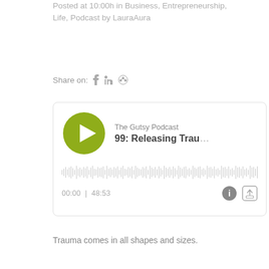Posted at 10:00h in Business, Entrepreneurship, Life, Podcast by LauraAura
Share on: f in ⊕
[Figure (screenshot): Podcast player widget for The Gutsy Podcast episode 99: Releasing Trau... with green play button, waveform, time display 00:00 | 48:53, info and share icons]
Trauma comes in all shapes and sizes.